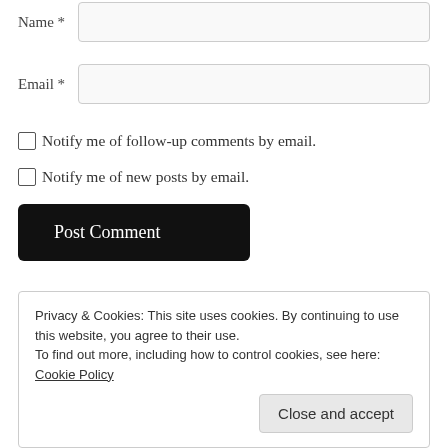Name *
Email *
Notify me of follow-up comments by email.
Notify me of new posts by email.
Post Comment
Privacy & Cookies: This site uses cookies. By continuing to use this website, you agree to their use.
To find out more, including how to control cookies, see here: Cookie Policy
Close and accept